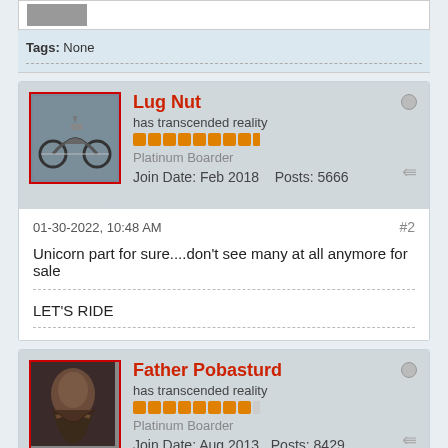Tags: None
Lug Nut
has transcended reality
Platinum Boarder
Join Date: Feb 2018    Posts: 5666
01-30-2022, 10:48 AM
#2
Unicorn part for sure....don't see many at all anymore for sale
LET'S RIDE
Father Pobasturd
has transcended reality
Platinum Boarder
Join Date: Aug 2013    Posts: 8429